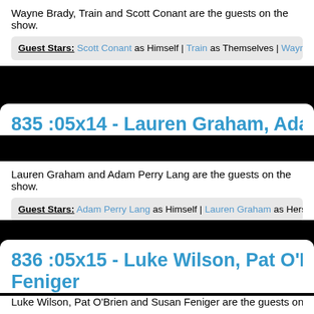Wayne Brady, Train and Scott Conant are the guests on the show.
Guest Stars: Scott Conant as Himself | Train as Themselves | Wayne Bra…
835 :05x14 - Lauren Graham, Adam…
Lauren Graham and Adam Perry Lang are the guests on the show.
Guest Stars: Adam Perry Lang as Himself | Lauren Graham as Herself
836 :05x15 - Luke Wilson, Pat O'Bri… Feniger
Luke Wilson, Pat O'Brien and Susan Feniger are the guests on the show.
Guest Stars: Susan Feniger as Herself | Pat O'Brien (1) as Himself | Luk…